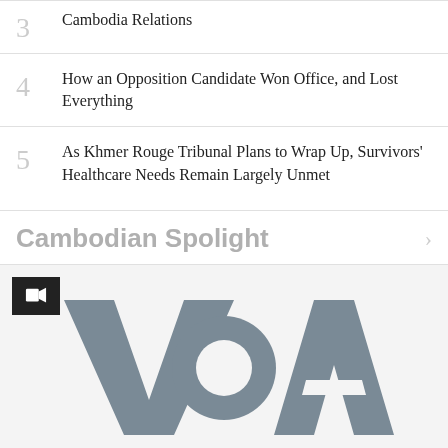Cambodia Relations
4 How an Opposition Candidate Won Office, and Lost Everything
5 As Khmer Rouge Tribunal Plans to Wrap Up, Survivors' Healthcare Needs Remain Largely Unmet
Cambodian Spolight
[Figure (logo): VOA (Voice of America) logo in grey on light grey background, with a video camera icon overlay in the top left corner]